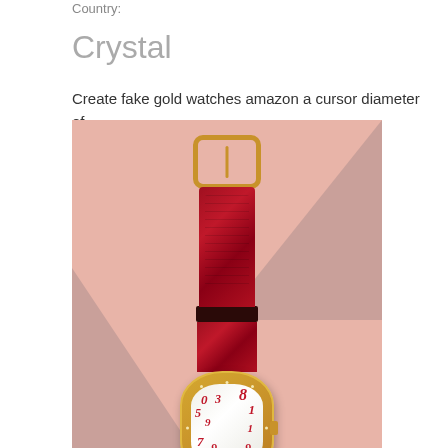Country:
Crystal
Create fake gold watches amazon a cursor diameter of
[Figure (photo): A luxury women's watch with a red crocodile leather strap and a gold-tone tonneau case set with diamonds. The watch has a white dial with large red numerals in a whimsical style. The watch is photographed on a pink geometric background.]